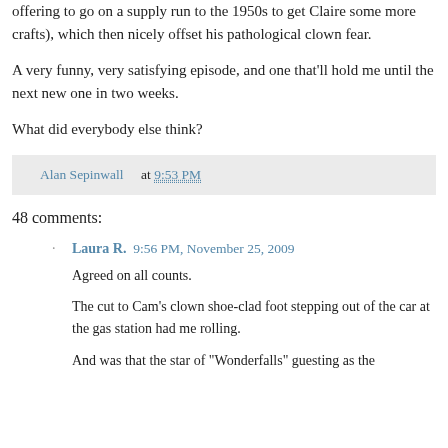offering to go on a supply run to the 1950s to get Claire some more crafts), which then nicely offset his pathological clown fear.
A very funny, very satisfying episode, and one that'll hold me until the next new one in two weeks.
What did everybody else think?
Alan Sepinwall at 9:53 PM
48 comments:
Laura R. 9:56 PM, November 25, 2009
Agreed on all counts.
The cut to Cam's clown shoe-clad foot stepping out of the car at the gas station had me rolling.
And was that the star of "Wonderfalls" guesting as the